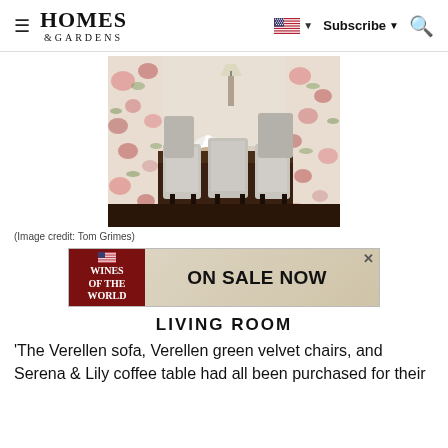HOMES & GARDENS | Subscribe | Search
[Figure (photo): Dining room with white upholstered chairs around a dark wood table, floral wallpaper in background]
(Image credit: Tom Grimes)
[Figure (other): Advertisement banner: Wines of the World - ON SALE NOW]
LIVING ROOM
'The Verellen sofa, Verellen green velvet chairs, and Serena & Lily coffee table had all been purchased for their